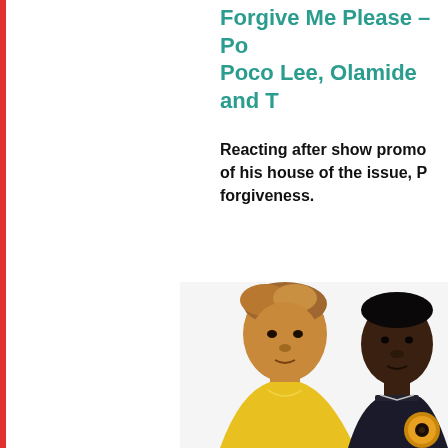Forgive Me Please – Po... Poco Lee, Olamide and T...
Reacting after show promo... of his house of the issue, P... forgiveness.
[Figure (photo): Two Nigerian musicians side by side — a lighter-skinned man in a yellow outfit on the left with dyed blonde-brown hair, and a darker-skinned man in a dark top on the right with a gold badge/logo in the lower corner.]